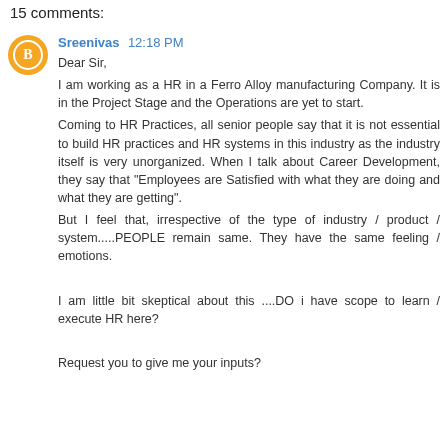15 comments:
Sreenivas 12:18 PM
Dear Sir,
I am working as a HR in a Ferro Alloy manufacturing Company. It is in the Project Stage and the Operations are yet to start.
Coming to HR Practices, all senior people say that it is not essential to build HR practices and HR systems in this industry as the industry itself is very unorganized. When I talk about Career Development, they say that "Employees are Satisfied with what they are doing and what they are getting".
But I feel that, irrespective of the type of industry / product / system.....PEOPLE remain same. They have the same feeling / emotions.

I am little bit skeptical about this ....DO i have scope to learn / execute HR here?

Request you to give me your inputs?